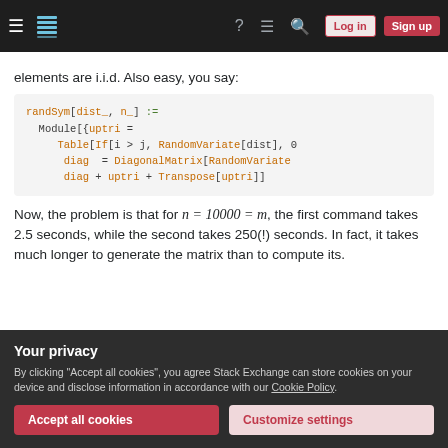Stack Exchange navigation bar with hamburger menu, logo, help, chat, search, Log in, Sign up
elements are i.i.d. Also easy, you say:
[Figure (screenshot): Code block showing Mathematica code: randSym[dist_, n_] := Module[{uptri = Table[If[i > j, RandomVariate[dist], 0], diag = DiagonalMatrix[RandomVariate, diag + uptri + Transpose[uptri]]]
Now, the problem is that for n = 10000 = m, the first command takes 2.5 seconds, while the second takes 250(!) seconds. In fact, it takes much longer to generate the matrix than to compute its.
Your privacy
By clicking "Accept all cookies", you agree Stack Exchange can store cookies on your device and disclose information in accordance with our Cookie Policy.
Accept all cookies   Customize settings